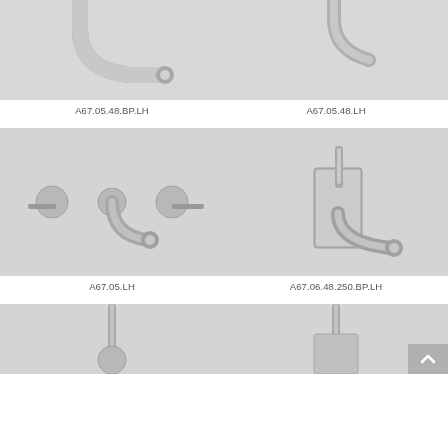[Figure (photo): Chrome wall-mount faucet spout close-up, product A67.05.48.BP.LH]
A67.05.48.BP.LH
[Figure (photo): Chrome wall-mount faucet spout close-up, product A67.05.48.LH]
A67.05.48.LH
[Figure (photo): Chrome wall-mount three-hole basin mixer with lever handles, product A67.05.LH]
A67.05.LH
[Figure (photo): Chrome wall-mount single-lever basin mixer on backplate, product A67.06.48.250.BP.LH]
A67.06.48.250.BP.LH
[Figure (photo): Chrome wall-mount faucet partial view bottom left, partially cropped]
[Figure (photo): Chrome wall-mount faucet partial view bottom right, partially cropped]